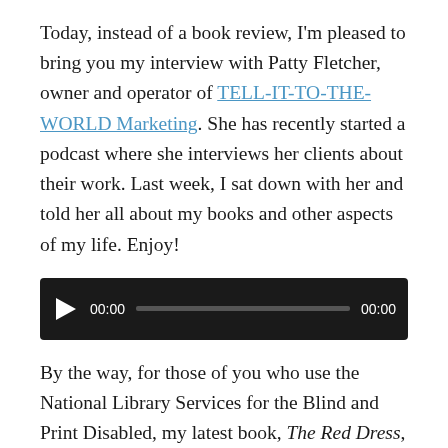Today, instead of a book review, I'm pleased to bring you my interview with Patty Fletcher, owner and operator of TELL-IT-TO-THE-WORLD Marketing. She has recently started a podcast where she interviews her clients about their work. Last week, I sat down with her and told her all about my books and other aspects of my life. Enjoy!
[Figure (other): Audio player widget with dark background, play button, time display showing 00:00, progress bar, and total duration 00:00]
By the way, for those of you who use the National Library Services for the Blind and Print Disabled, my latest book, The Red Dress, is available for download from their site here.